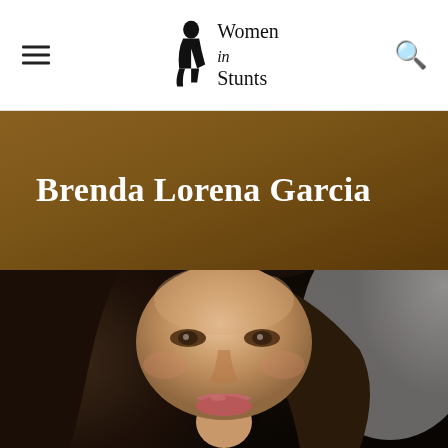Women in Stunts
Brenda Lorena Garcia
[Figure (photo): Headshot portrait of Brenda Lorena Garcia, a woman with long dark hair, hazel eyes, and subtle makeup, photographed against a dark background with a grey accent]